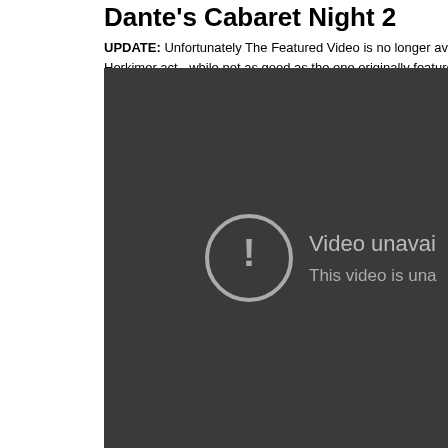Dante's Cabaret Night 2
UPDATE: Unfortunately The Featured Video is no longer ava... Herkimer act - while not as good as the one originally feature...
[Figure (screenshot): Dark video player showing 'Video unavailable' error message with exclamation mark icon and text 'This video is una...']